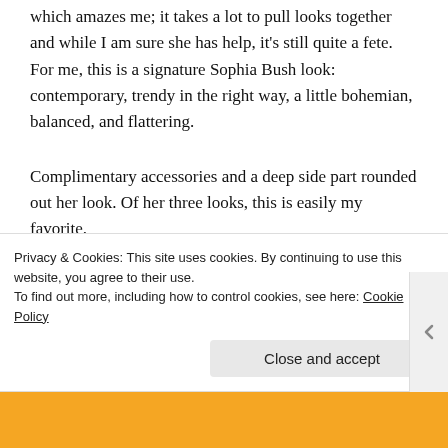which amazes me; it takes a lot to pull looks together and while I am sure she has help, it's still quite a fete. For me, this is a signature Sophia Bush look: contemporary, trendy in the right way, a little bohemian, balanced, and flattering.
Complimentary accessories and a deep side part rounded out her look. Of her three looks, this is easily my favorite.
Sophia Bush, Zimmermann- The Tonight Show
Privacy & Cookies: This site uses cookies. By continuing to use this website, you agree to their use.
To find out more, including how to control cookies, see here: Cookie Policy